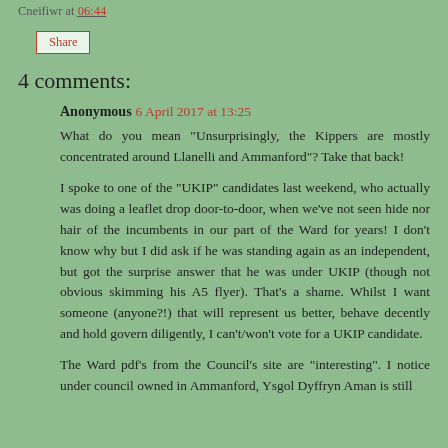Cneifiwr at 06:44
Share
4 comments:
Anonymous 6 April 2017 at 13:25
What do you mean "Unsurprisingly, the Kippers are mostly concentrated around Llanelli and Ammanford"? Take that back!
I spoke to one of the "UKIP" candidates last weekend, who actually was doing a leaflet drop door-to-door, when we've not seen hide nor hair of the incumbents in our part of the Ward for years! I don't know why but I did ask if he was standing again as an independent, but got the surprise answer that he was under UKIP (though not obvious skimming his A5 flyer). That's a shame. Whilst I want someone (anyone?!) that will represent us better, behave decently and hold govern diligently, I can't/won't vote for a UKIP candidate.
The Ward pdf's from the Council's site are "interesting". I notice under council owned in Ammanford, Ysgol Dyffryn Aman is still